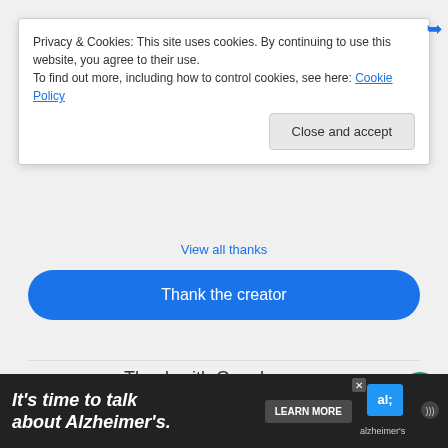Privacy & Cookies: This site uses cookies. By continuing to use this website, you agree to their use.
To find out more, including how to control cookies, see here: Cookie Policy
Close and accept
View all thanks
Thank the creator
Thank with Google
Learn how this benefits the creator
TABLETOP GAME REVIEW INDEX
It's time to talk about Alzheimer's. LEARN MORE